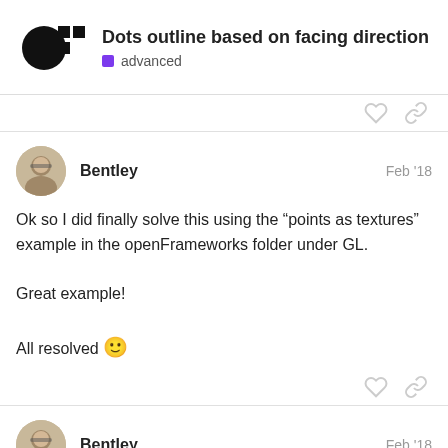Dots outline based on facing direction / advanced
Ok so I did finally solve this using the “points as textures” example in the openFrameworks folder under GL.

Great example!

All resolved 🙂
Actually, my final issue is that if I do a dept to work properly.